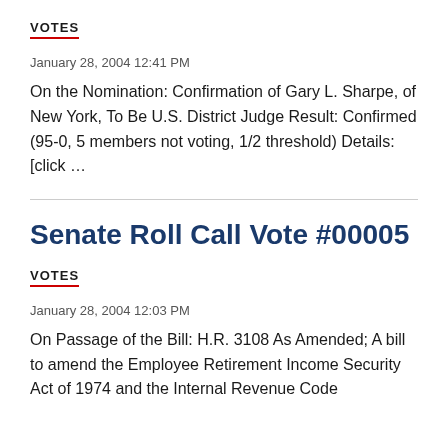VOTES
January 28, 2004 12:41 PM
On the Nomination: Confirmation of Gary L. Sharpe, of New York, To Be U.S. District Judge Result: Confirmed (95-0, 5 members not voting, 1/2 threshold) Details: [click …
Senate Roll Call Vote #00005
VOTES
January 28, 2004 12:03 PM
On Passage of the Bill: H.R. 3108 As Amended; A bill to amend the Employee Retirement Income Security Act of 1974 and the Internal Revenue Code